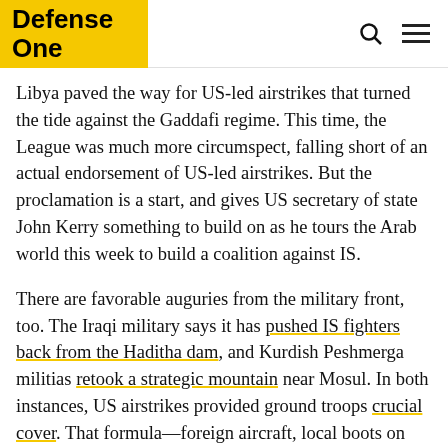Defense One
Libya paved the way for US-led airstrikes that turned the tide against the Gaddafi regime. This time, the League was much more circumspect, falling short of an actual endorsement of US-led airstrikes. But the proclamation is a start, and gives US secretary of state John Kerry something to build on as he tours the Arab world this week to build a coalition against IS.
There are favorable auguries from the military front, too. The Iraqi military says it has pushed IS fighters back from the Haditha dam, and Kurdish Peshmerga militias retook a strategic mountain near Mosul. In both instances, US airstrikes provided ground troops crucial cover. That formula—foreign aircraft, local boots on the ground—is what Obama will sell to his countrymen in his speech on Wednesday.